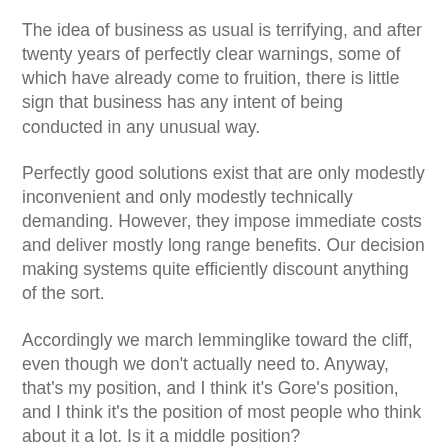The idea of business as usual is terrifying, and after twenty years of perfectly clear warnings, some of which have already come to fruition, there is little sign that business has any intent of being conducted in any unusual way.
Perfectly good solutions exist that are only modestly inconvenient and only modestly technically demanding. However, they impose immediate costs and deliver mostly long range benefits. Our decision making systems quite efficiently discount anything of the sort.
Accordingly we march lemminglike toward the cliff, even though we don't actually need to. Anyway, that's my position, and I think it's Gore's position, and I think it's the position of most people who think about it a lot. Is it a middle position?
If a man with a wild haircut, tattoos and a nosering dressed in an impeccably tailored three piece suit is modestly dressed, yes, I suppose so.
Sometimes the truth itself is extreme. Nature does not